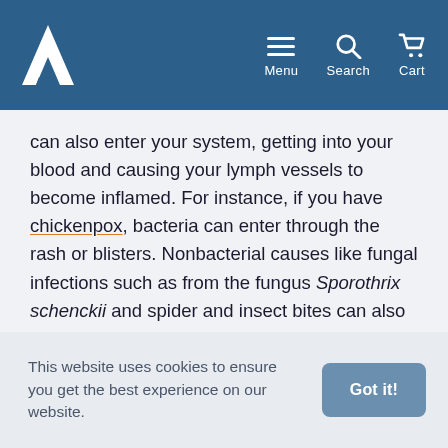Arthritis Health — Menu, Search, Cart navigation header
can also enter your system, getting into your blood and causing your lymph vessels to become inflamed. For instance, if you have chickenpox, bacteria can enter through the rash or blisters. Nonbacterial causes like fungal infections such as from the fungus Sporothrix schenckii and spider and insect bites can also bring on lymphangitis.
You are at a higher risk for lymphangitis if you have a chronic condition that compromises your immune system and lowers your infection-fighting abilities. If you have
This website uses cookies to ensure you get the best experience on our website.   Got it!